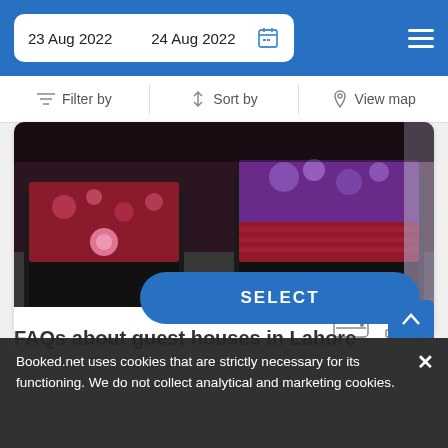23 Aug 2022   24 Aug 2022
Filter by   Sort by   View map
[Figure (photo): Hotel room with two single beds with dark wooden frames and colorful floral bedding in dark red and purple tones]
7.9 mi from City Center
SELECT
FAQs about guest houses in Lahore
Booked.net uses cookies that are strictly necessary for its functioning. We do not collect analytical and marketing cookies.